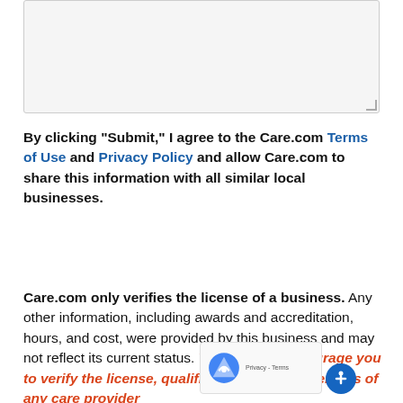[Figure (other): Text area input box with resize handle, light gray background]
By clicking "Submit," I agree to the Care.com Terms of Use and Privacy Policy and allow Care.com to share this information with all similar local businesses.
Care.com only verifies the license of a business. Any other information, including awards and accreditation, hours, and cost, were provided by this business and may not reflect its current status. We strongly encourage you to verify the license, qualifications, and credentials of any care provider on your own. Care.com does not endorse or
[Figure (other): reCAPTCHA badge and accessibility icon overlay]